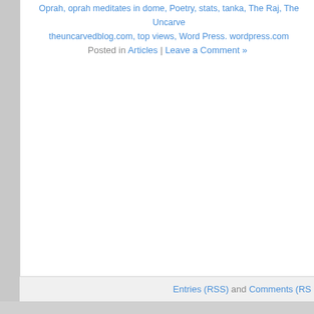Oprah, oprah meditates in dome, Poetry, stats, tanka, The Raj, The Uncarvedblog.com, top views, Word Press. wordpress.com
Posted in Articles | Leave a Comment »
Entries (RSS) and Comments (RS…